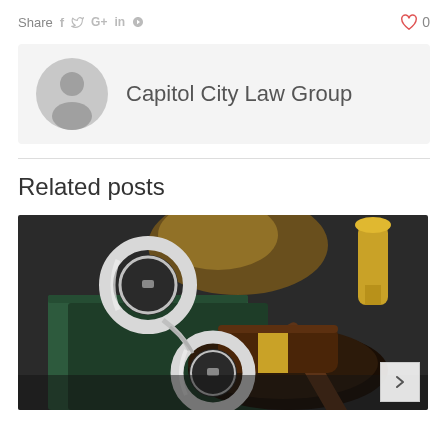Share  f  t  G+  in  p    ♡ 0
[Figure (illustration): Author avatar placeholder — grey circle with silhouette of a person]
Capitol City Law Group
Related posts
[Figure (photo): Photo of handcuffs resting on a dark green book next to a wooden judge's gavel with gold band and a gold decorative object in the background]